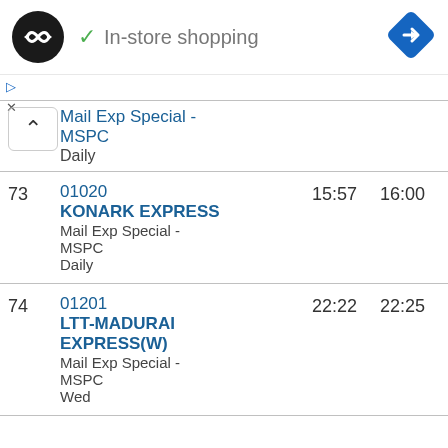[Figure (logo): Black circular logo with overlapping infinity-like arrow symbol, and 'In-store shopping' text with green checkmark. Blue diamond navigation icon on right.]
| # | Train | Arrival | Departure |
| --- | --- | --- | --- |
|  | Mail Exp Special - MSPC
Daily |  |  |
| 73 | 01020
KONARK EXPRESS
Mail Exp Special - MSPC
Daily | 15:57 | 16:00 |
| 74 | 01201
LTT-MADURAI EXPRESS(W)
Mail Exp Special - MSPC
Wed | 22:22 | 22:25 |